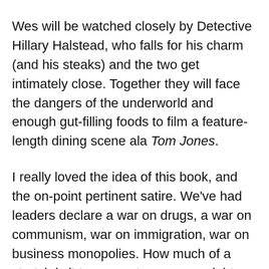Wes will be watched closely by Detective Hillary Halstead, who falls for his charm (and his steaks) and the two get intimately close. Together they will face the dangers of the underworld and enough gut-filling foods to film a feature-length dining scene ala Tom Jones.
I really loved the idea of this book, and the on-point pertinent satire. We've had leaders declare a war on drugs, a war on communism, war on immigration, war on business monopolies. How much of a stretch is it to suggest someone might declare a war on junk food – particularly in light of the fact that Americans are generally more obese than those of any other country and Americans also consume more junk food than anyone else.
Once the novelty of this idea wore off, however, the book